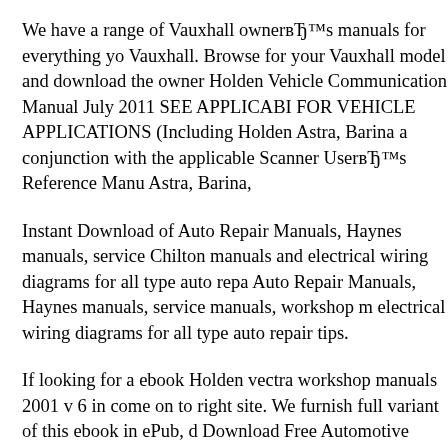We have a range of Vauxhall owner's manuals for everything you need for your Vauxhall. Browse for your Vauxhall model and download the owner's manual. Holden Vehicle Communication Manual July 2011 SEE APPLICABLE FOR VEHICLE APPLICATIONS (Including Holden Astra, Barina and more) in conjunction with the applicable Scanner User's Reference Manual. Astra, Barina,
Instant Download of Auto Repair Manuals, Haynes manuals, service manuals, Chilton manuals and electrical wiring diagrams for all type auto repair. Auto Repair Manuals, Haynes manuals, service manuals, workshop manuals, electrical wiring diagrams for all type auto repair tips.
If looking for a ebook Holden vectra workshop manuals 2001 v 6 in pdf form, come on to right site. We furnish full variant of this ebook in ePub, doc. Download Free Automotive Workshop & Service Manuals. Alfa-Romeo Chrysler Daewoo Daihatsu Ford Great-Wall Hawtai Hino Holden Honda Lexus Lotus Mazda Mercury Mitsubishi Nissan Opel Perodua Pontiac Suzuki Toyota Volkswagen Volvo . Home > Search Automotive Workshop